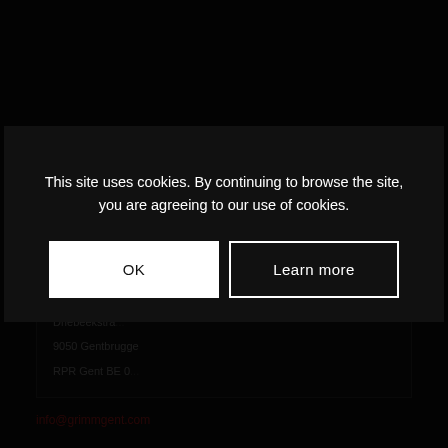LEGAL
GRIMM VZW
Driebeekstraat...
9050 Gentbrugge
RPR Gent BE 0...
info@grimmgent.com
This site uses cookies. By continuing to browse the site, you are agreeing to our use of cookies.